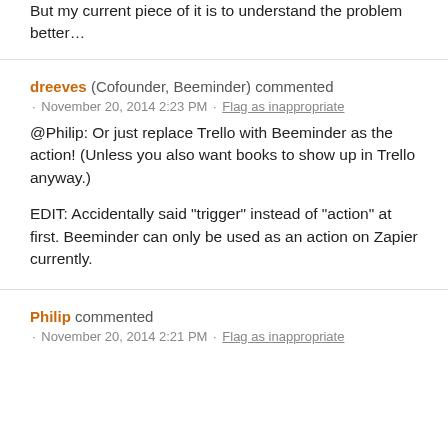But my current piece of it is to understand the problem better…
dreeves (Cofounder, Beeminder) commented · November 20, 2014 2:23 PM · Flag as inappropriate
@Philip: Or just replace Trello with Beeminder as the action! (Unless you also want books to show up in Trello anyway.)

EDIT: Accidentally said "trigger" instead of "action" at first. Beeminder can only be used as an action on Zapier currently.
Philip commented · November 20, 2014 2:21 PM · Flag as inappropriate